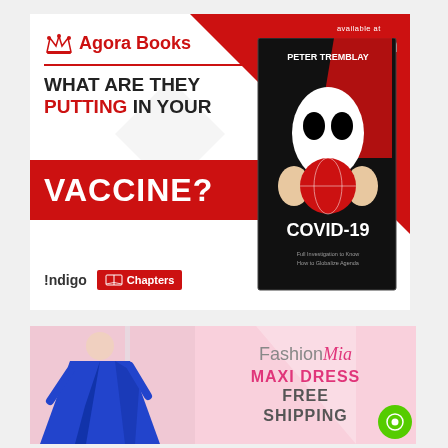[Figure (illustration): Agora Books advertisement for COVID-19 book by Peter Tremblay titled 'What Are They Putting In Your Vaccine?', available on Amazon, Indigo, and Chapters. Features alien holding globe on book cover.]
[Figure (illustration): FashionMia advertisement showing blue maxi dress with text 'MAXI DRESS FREE SHIPPING']